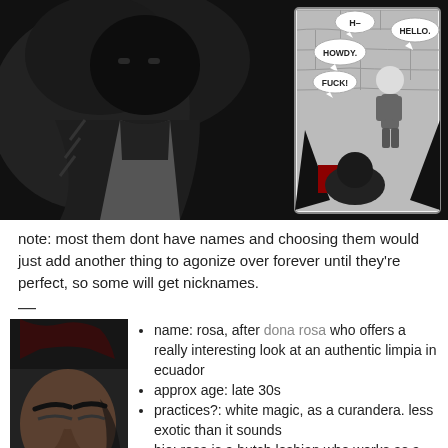[Figure (illustration): A dark, grayscale webcomic panel showing large hooded figures and speech bubbles saying 'H-', 'HOWDY.', 'FUCK!', and 'HELLO.' A smaller inset panel shows a person standing in a stone room.]
note: most them dont have names and choosing them would just add another thing to agonize over forever until they're perfect, so some will get nicknames.
—
[Figure (illustration): A cropped illustration of a character's face in red and dark tones, appearing to be a butch woman with serious expression.]
name: rosa, after dona rosa who offers a really interesting look at an authentic limpia in ecuador
approx age: late 30s
practices?: white magic, as a curandera. less exotic than it sounds
bio: rosa is a butch lesbian who works as a dental assistant. a lot more people die there than you think. it's always cheaper to have someone on already on staff who can take...